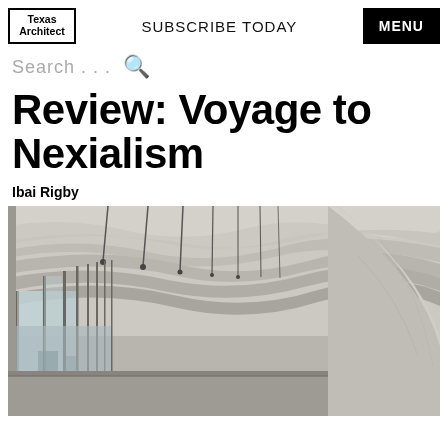Texas Architect | SUBSCRIBE TODAY | MENU
Search . . .
Review: Voyage to Nexialism
Ibai Rigby
[Figure (photo): Interior architectural photograph showing a curved corridor with a textured wave-patterned concrete ceiling, floor-to-ceiling glass windows on the left side with metal columns, and a smooth cylindrical concrete wall curving to the right. The image is in a muted grey palette.]